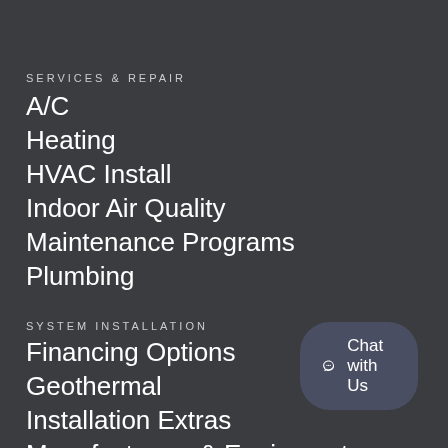SERVICES & REPAIR
A/C
Heating
HVAC Install
Indoor Air Quality
Maintenance Programs
Plumbing
SYSTEM INSTALLATION
Financing Options
Geothermal
Installation Extras
Manufacturers & Equipment
Solar HVAC Systems
Zoning
Chat with Us